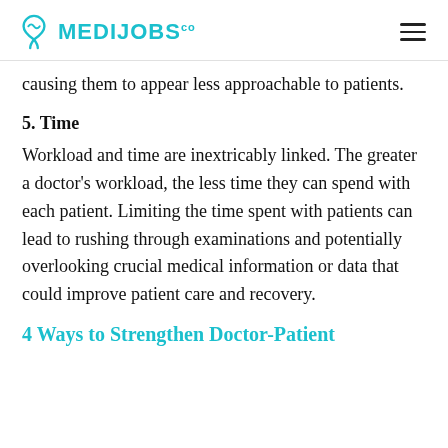MEDIJOBS.co
causing them to appear less approachable to patients.
5. Time
Workload and time are inextricably linked. The greater a doctor's workload, the less time they can spend with each patient. Limiting the time spent with patients can lead to rushing through examinations and potentially overlooking crucial medical information or data that could improve patient care and recovery.
4 Ways to Strengthen Doctor-Patient